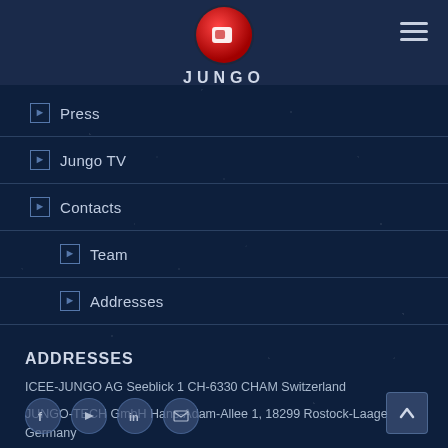[Figure (logo): JUNGO company logo — red circular badge with white square element, text JUNGO below in white letters on dark navy header bar]
> Press
> Jungo TV
> Contacts
> Team
> Addresses
ADDRESSES
ICEE-JUNGO AG Seeblick 1 CH-6330 CHAM Switzerland
JUNGO-TECH GmbH Hans-Adam-Allee 1, 18299 Rostock-Laage Germany
[Figure (infographic): Social media icons row: Facebook, YouTube, LinkedIn, Email envelope icons in circular buttons]